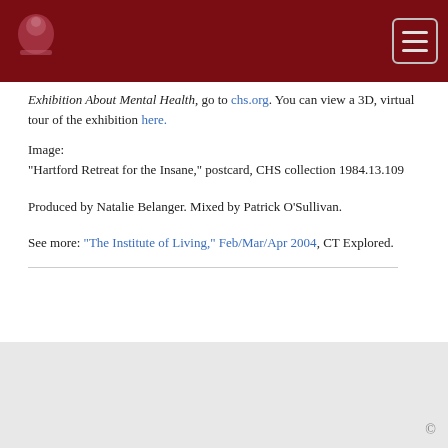[CHS logo] [Hamburger menu button]
Exhibition About Mental Health, go to chs.org. You can view a 3D, virtual tour of the exhibition here.
Image:
"Hartford Retreat for the Insane," postcard, CHS collection 1984.13.109
Produced by Natalie Belanger. Mixed by Patrick O'Sullivan.
See more: "The Institute of Living," Feb/Mar/Apr 2004, CT Explored.
©